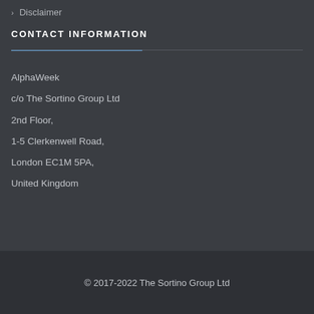Disclaimer
CONTACT INFORMATION
AlphaWeek
c/o The Sortino Group Ltd
2nd Floor,
1-5 Clerkenwell Road,
London EC1M 5PA,
United Kingdom
© 2017-2022 The Sortino Group Ltd